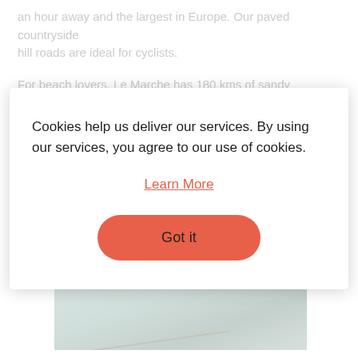an hour away and the largest in Europe. Our paved countryside hill roads are ideal for cyclists.
For beach lovers, Le Marche has 180 kms of sandy coastline and
Cookies help us deliver our services. By using our services, you agree to our use of cookies.
Learn More
Got it
[Figure (photo): Scenic countryside landscape photo, partially visible below the cookie consent modal]